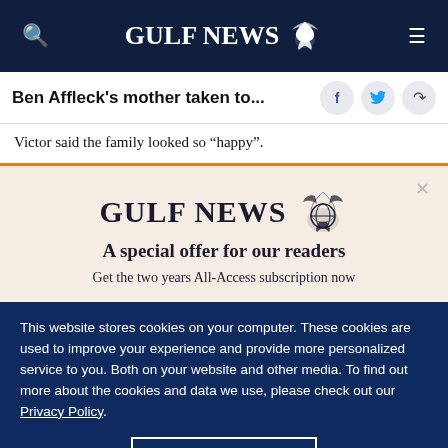GULF NEWS
Ben Affleck's mother taken to...
Victor said the family looked so “happy”.
[Figure (logo): Gulf News logo with eagle emblem and text 'A special offer for our readers. Get the two years All-Access subscription now']
This website stores cookies on your computer. These cookies are used to improve your experience and provide more personalized service to you. Both on your website and other media. To find out more about the cookies and data we use, please check out our Privacy Policy.